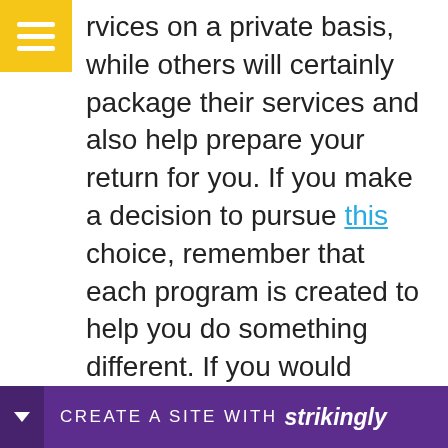rvices on a private basis, while others will certainly package their services and also help prepare your return for you. If you make a decision to pursue this choice, remember that each program is created to help you do something different. If you would certainly such as more personal aid with your tax prep work solutions, think about exploring the specialist tax prep work services offered by H&R Block, Jackson Hewitt as well as Liberty. These companies tend to concentrate much more on business elements of filing your income tax return as well as offer training for completing professional bearing your
[Figure (other): Strikingly website builder banner at bottom of page. Purple bar with arrow dropdown, text 'CREATE A SITE WITH strikingly']